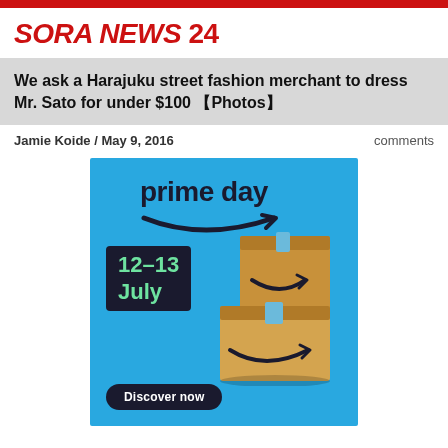SORA NEWS 24
We ask a Harajuku street fashion merchant to dress Mr. Sato for under $100 【Photos】
Jamie Koide / May 9, 2016
comments
[Figure (illustration): Amazon Prime Day advertisement banner on blue background showing 'prime day' text with Amazon smile logo, date box '12–13 July' in green text on dark background, Amazon shipping boxes with smile logo, and 'Discover now' button]